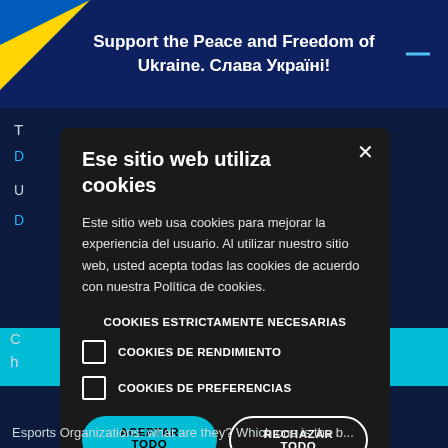Support the Peace and Freedom of Ukraine. Слава Україні!
Ese sitio web utiliza cookies
Este sitio web usa cookies para mejorar la experiencia del usuario. Al utilizar nuestro sitio web, usted acepta todas las cookies de acuerdo con nuestra Política de cookies.
COOKIES ESTRICTAMENTE NECESARIAS
COOKIES DE RENDIMIENTO
COOKIES DE PREFERENCIAS
ACEPTAR TODO  RECHAZAR TODO
⚙ MOSTRAR DETALLES
Esports Organizations: what are they? Which one is the b...